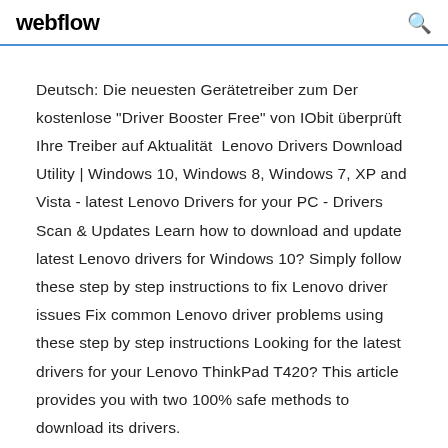webflow
Deutsch: Die neuesten Gerätetreiber zum Der kostenlose "Driver Booster Free" von IObit überprüft Ihre Treiber auf Aktualität  Lenovo Drivers Download Utility | Windows 10, Windows 8, Windows 7, XP and Vista - latest Lenovo Drivers for your PC - Drivers Scan & Updates Learn how to download and update latest Lenovo drivers for Windows 10? Simply follow these step by step instructions to fix Lenovo driver issues Fix common Lenovo driver problems using these step by step instructions Looking for the latest drivers for your Lenovo ThinkPad T420? This article provides you with two 100% safe methods to download its drivers.